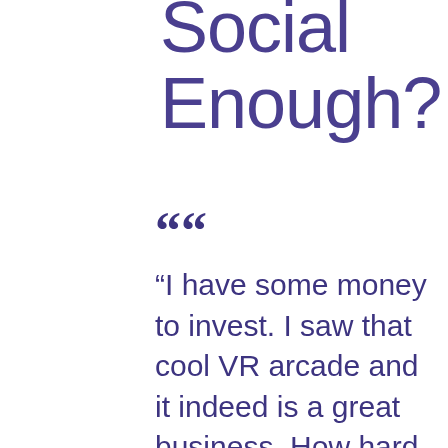Social Enough?
“I have some money to invest. I saw that cool VR arcade and it indeed is a great business. How hard can it be?  Just buying some hardware and